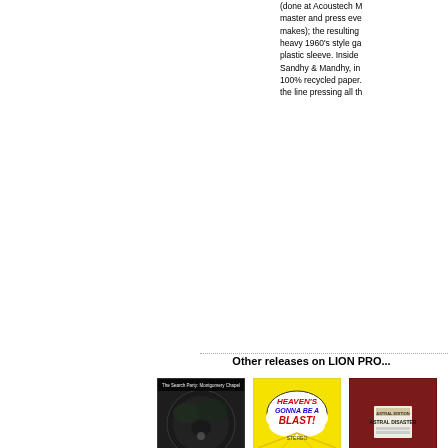(done at Acoustech M... master and press eve... makes); the resulting heavy 1960's style ga... plastic sleeve. Inside Sandhy & Mandhy, in 100% recycled paper. the line pressing all th...
Other releases on LION PRO...
[Figure (photo): Album cover: The Search Party - Montgomery Chapel, black and white photo of trees/scene]
[Figure (photo): Album cover: Wilson McKinley - Heaven's Gonna Be A Blast!, yellow background with cloud text design, STEREO label]
[Figure (photo): Album cover: Astral Disaster, dark red/maroon background with label sticker in center]
Other releases by SANDHY &...
[Figure (photo): Album cover: Sandhy & Mandhy, blue-toned photo of people near a car]